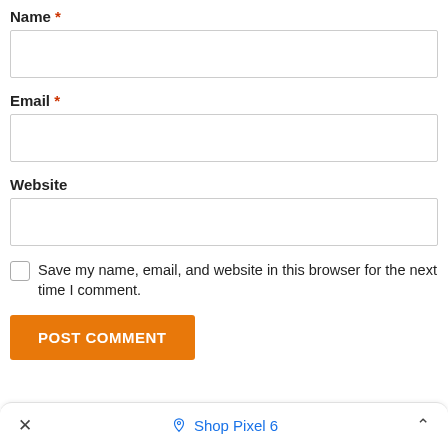Name *
Email *
Website
Save my name, email, and website in this browser for the next time I comment.
POST COMMENT
× Shop Pixel 6 ^